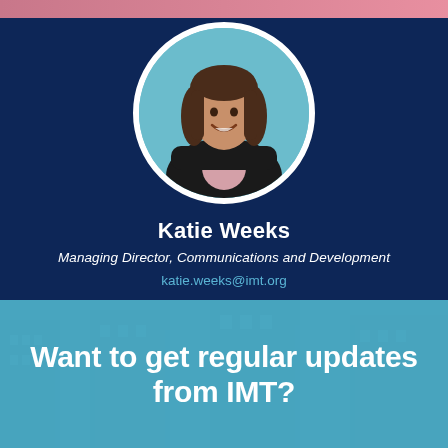[Figure (photo): Circular profile photo of Katie Weeks, a woman with long brown hair wearing a black blazer, smiling with arms crossed, on a teal background. The photo is framed in a white circular border against a dark navy background.]
Katie Weeks
Managing Director, Communications and Development
katie.weeks@imt.org
Want to get regular updates from IMT?